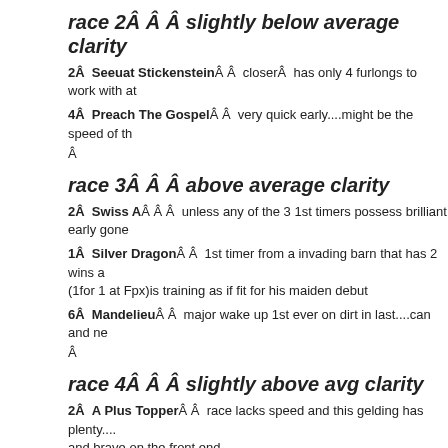race 2Â Â Â  slightly below average clarity
2Â  Seeuat StickensteinÂ Â  closerÂ  has only 4 furlongs to work with at
4Â  Preach The GospelÂ Â  very quick early....might be the speed of th
Â
race 3Â Â Â  above average clarity
2Â  Swiss AÂ Â Â  unless any of the 3 1st timers possess brilliant early gone
1Â  Silver DragonÂ Â  1st timer from a invading barn that has 2 wins a (1for 1 at Fpx)is training as if fit for his maiden debut
6Â  MandelieuÂ Â  major wake up 1st ever on dirt in last....can and ne
Â
race 4Â Â Â  slightly above avg clarity
2Â  A Plus TopperÂ Â  race lacks speed and this gelding has plenty.... and brave on the front end
3Â  EarnednevergivenÂ Â  should be able to sit in a distance chase p doesn't rate well enough